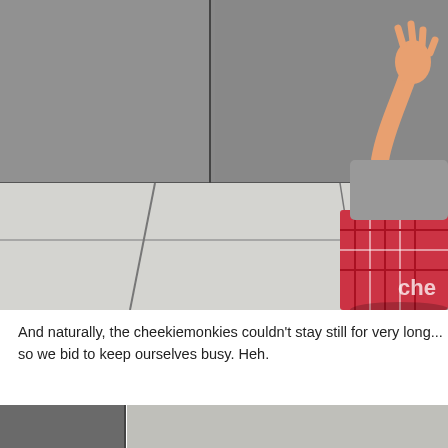[Figure (photo): A young child in a plaid red and white shirt sitting on light-colored stone tiles against a grey stone wall, with their hand raised. A watermark 'che' is visible in the bottom right corner.]
And naturally, the cheekiemonkies couldn't stay still for very long... so we bid to keep ourselves busy. Heh.
[Figure (photo): Partial view of grey and light stone tiles, similar to the upper photo, showing a ground-level perspective.]